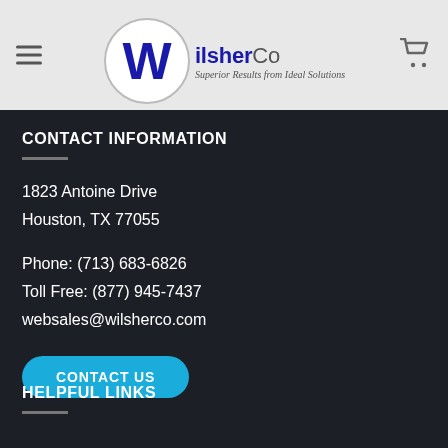[Figure (logo): WilsherCo logo with circular W emblem and tagline 'Superior Results from Ideal Solutions']
CONTACT INFORMATION
1823 Antoine Drive
Houston, TX 77055
Phone: (713) 683-6826
Toll Free: (877) 945-7437
websales@wilsherco.com
CONTACT US
HELPFUL LINKS